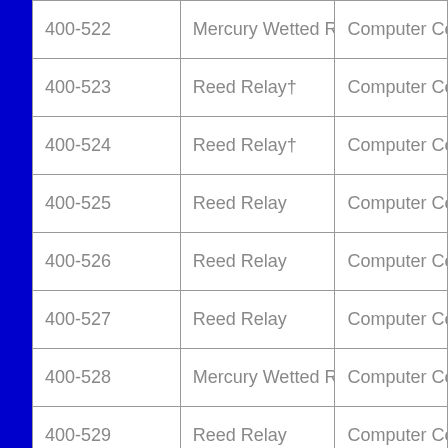| 400-522 | Mercury Wetted Relay† | Computer Compon… |
| 400-523 | Reed Relay† | Computer Compon… |
| 400-524 | Reed Relay† | Computer Compon… |
| 400-525 | Reed Relay | Computer Compon… |
| 400-526 | Reed Relay | Computer Compon… |
| 400-527 | Reed Relay | Computer Compon… |
| 400-528 | Mercury Wetted Relay† | Computer Compon… |
| 400-529 | Reed Relay | Computer Compon… |
|  |  |  |